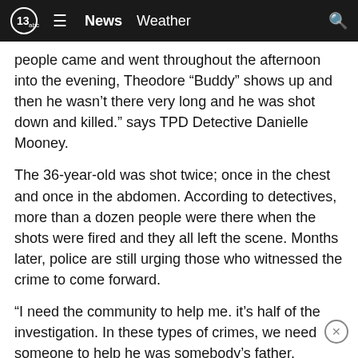13abc | News  Weather
people came and went throughout the afternoon into the evening, Theodore “Buddy” shows up and then he wasn’t there very long and he was shot down and killed.” says TPD Detective Danielle Mooney.
The 36-year-old was shot twice; once in the chest and once in the abdomen. According to detectives, more than a dozen people were there when the shots were fired and they all left the scene. Months later, police are still urging those who witnessed the crime to come forward.
“I need the community to help me. it’s half of the investigation. In these types of crimes, we need someone to help he was somebody’s father, brother, son and these people can help and it’s frustrating. I can’t believe how his family feels to have no justice and no peace because of that,” says Det. Mooney.